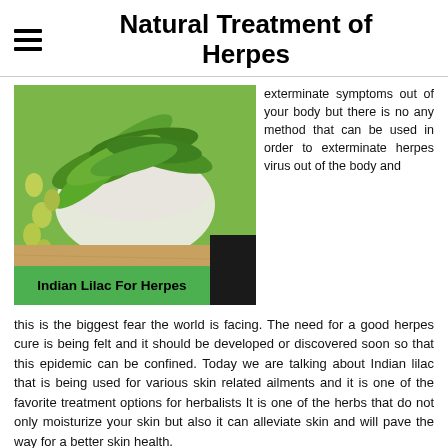Natural Treatment of Herpes
[Figure (photo): Photo of Indian lilac (neem) leaves in a white bowl with neem seeds on a wooden surface. Green banner at bottom reads 'Indian Lilac For Herpes' with a dark side label 'Strengthens I']
exterminate symptoms out of your body but there is no any method that can be used in order to exterminate herpes virus out of the body and this is the biggest fear the world is facing. The need for a good herpes cure is being felt and it should be developed or discovered soon so that this epidemic can be confined. Today we are talking about Indian lilac that is being used for various skin related ailments and it is one of the favorite treatment options for herbalists It is one of the herbs that do not only moisturize your skin but also it can alleviate skin and will pave the way for a better skin health.
[Figure (photo): Partial photo at bottom of page showing what appears to be flowers or herbs, dark brownish tones]